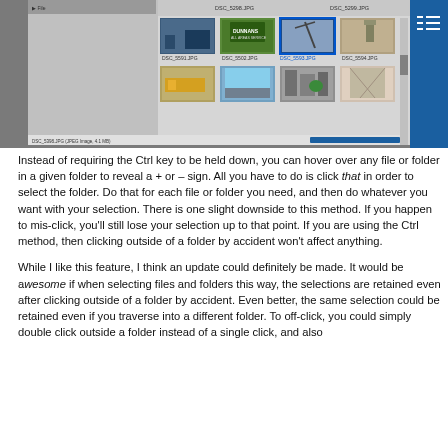[Figure (screenshot): Screenshot of a file browser or image viewer showing a grid of thumbnail photos of city scenes and street views. The thumbnails have filenames like DSC_5297.JPG, DSC_5298.JPG, DSC_5299.JPG, DSC_5300.JPG, DSC_5591.JPG, DSC_5502.JPG, DSC_5593.JPG, DSC_5594.JPG, and more. A blue sidebar is visible on the right side with a list/menu icon. A status bar at the bottom shows file info.]
Instead of requiring the Ctrl key to be held down, you can hover over any file or folder in a given folder to reveal a + or – sign. All you have to do is click that in order to select the folder. Do that for each file or folder you need, and then do whatever you want with your selection. There is one slight downside to this method. If you happen to mis-click, you'll still lose your selection up to that point. If you are using the Ctrl method, then clicking outside of a folder by accident won't affect anything.
While I like this feature, I think an update could definitely be made. It would be awesome if when selecting files and folders this way, the selections are retained even after clicking outside of a folder by accident. Even better, the same selection could be retained even if you traverse into a different folder. To off-click, you could simply double click outside a folder instead of a single click, and also